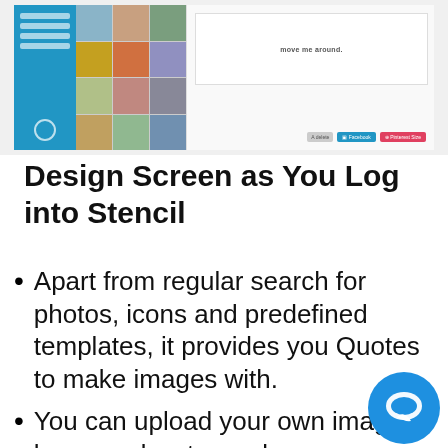[Figure (screenshot): Screenshot of the Stencil design tool interface showing a sidebar with blue background, a photo grid with multiple colorful thumbnail images, and an editor panel with text area and action buttons.]
Design Screen as You Log into Stencil
Apart from regular search for photos, icons and predefined templates, it provides you Quotes to make images with.
You can upload your own images, logos and watermarks.
With free version, you will get access to basic photos.